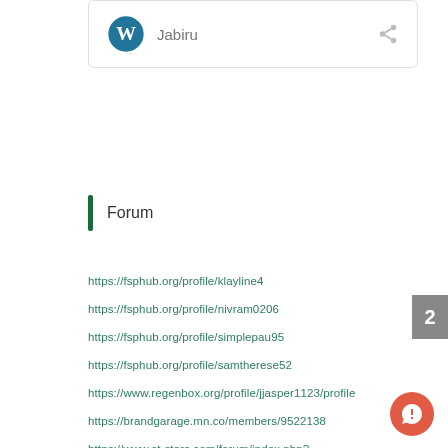[Figure (logo): WordPress logo with share icon and title 'Jabiru' in a card]
Forum
https://fsphub.org/profile/klayline4
https://fsphub.org/profile/nivram0206
https://fsphub.org/profile/simplepau95
https://fsphub.org/profile/samtherese52
https://www.regenbox.org/profile/jjasper1123/profile
https://brandgarage.mn.co/members/9522138
https://www.ct-stars.com/forum/index.php?